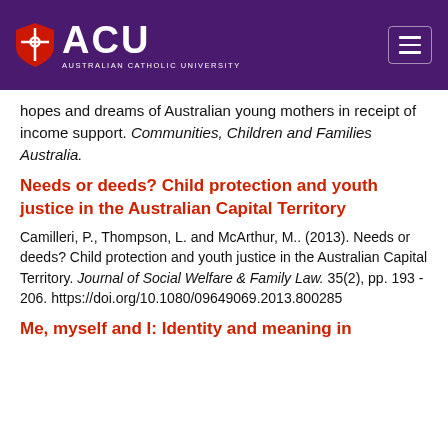ACU — Australian Catholic University
hopes and dreams of Australian young mothers in receipt of income support. Communities, Children and Families Australia.
Needs or deeds? Child protection and youth justice in the Australian Capital Territory
Camilleri, P., Thompson, L. and McArthur, M.. (2013). Needs or deeds? Child protection and youth justice in the Australian Capital Territory. Journal of Social Welfare & Family Law. 35(2), pp. 193 - 206. https://doi.org/10.1080/09649069.2013.800285
Me, myself and I: Identity and meaning in